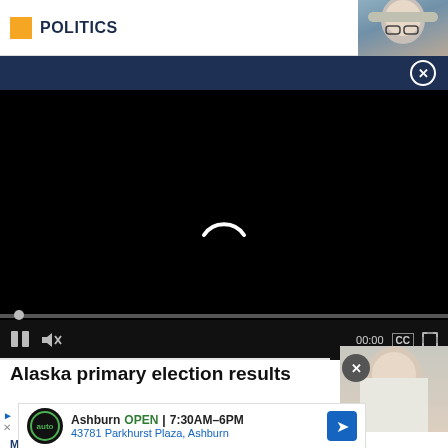POLITICS
[Figure (photo): Video player loading screen with black background and white spinner arc, showing controls bar with progress bar, play button, mute button, time display 00:00, CC button, and fullscreen button]
Alaska primary election results
[Figure (photo): Partial photo of a woman with blonde hair and glasses on right side]
Ashburn  OPEN  7:30AM–6PM
43781 Parkhurst Plaza, Ashburn
MORE ELECTIONS 2022